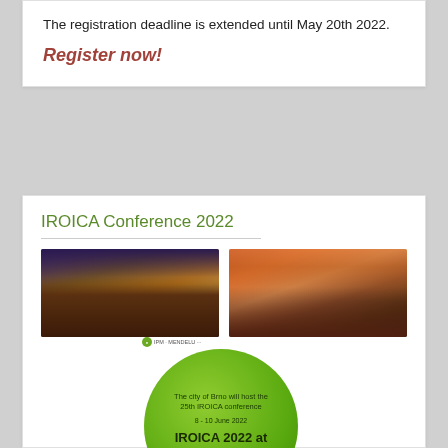The registration deadline is extended until May 20th 2022.
Register now!
IROICA Conference 2022
[Figure (photo): Brno city street at night with illuminated buildings]
[Figure (photo): Aerial view of a European city at sunset with church spires]
[Figure (infographic): Green circular badge stating: The city of Brno will host the 25th IROICA conference 8-10 June 2022. IROICA 2022 at MENDELI]